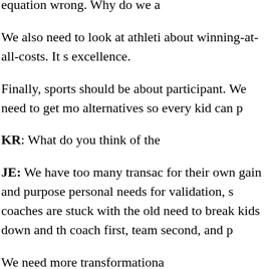equation wrong. Why do we a
We also need to look at athleti about winning-at-all-costs. It s excellence.
Finally, sports should be about participant. We need to get mo alternatives so every kid can p
KR: What do you think of the
JE: We have too many transac for their own gain and purpose personal needs for validation, s coaches are stuck with the old need to break kids down and th coach first, team second, and p
We need more transformationa